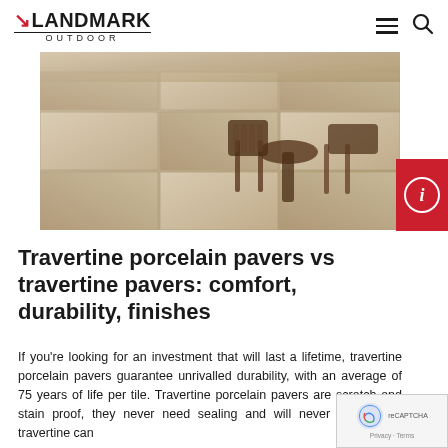LANDMARK OUTDOOR
[Figure (photo): Travertine porcelain paver tiles on an outdoor/indoor floor surface, with wooden furniture (chair and round table) visible in the background. Tiles are large-format with a beige/gray stone texture.]
Travertine porcelain pavers vs travertine pavers: comfort, durability, finishes
If you're looking for an investment that will last a lifetime, travertine porcelain pavers guarantee unrivalled durability, with an average of 75 years of life per tile. Travertine porcelain pavers are scratch and stain proof, they never need sealing and will never fade, while travertine can